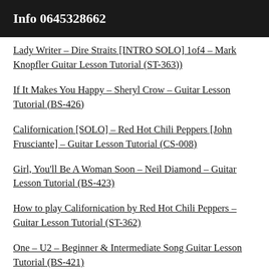Info 0645328662
Lady Writer – Dire Straits [INTRO SOLO] 1of4 – Mark Knopfler Guitar Lesson Tutorial (ST-363))
If It Makes You Happy – Sheryl Crow – Guitar Lesson Tutorial (BS-426)
Californication [SOLO] – Red Hot Chili Peppers [John Frusciante] – Guitar Lesson Tutorial (CS-008)
Girl, You'll Be A Woman Soon – Neil Diamond – Guitar Lesson Tutorial (BS-423)
How to play Californication by Red Hot Chili Peppers – Guitar Lesson Tutorial (ST-362)
One – U2 – Beginner & Intermediate Song Guitar Lesson Tutorial (BS-421)
Stand By Me – Ben E King – Easy Beginner Song